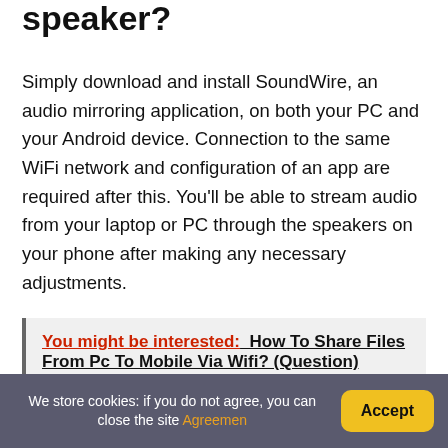speaker?
Simply download and install SoundWire, an audio mirroring application, on both your PC and your Android device. Connection to the same WiFi network and configuration of an app are required after this. You'll be able to stream audio from your laptop or PC through the speakers on your phone after making any necessary adjustments.
You might be interested:   How To Share Files From Pc To Mobile Via Wifi? (Question)
We store cookies: if you do not agree, you can close the site Agreemen